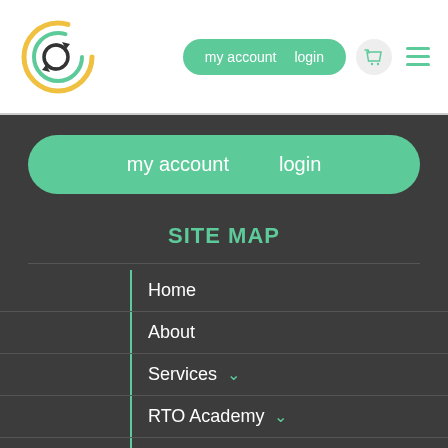[Figure (logo): Circular logo with green and yellow rings and a circular arrow/refresh icon in dark color]
my account   login
my account   login
SITE MAP
Home
About
Services ∨
RTO Academy ∨
News
Contact